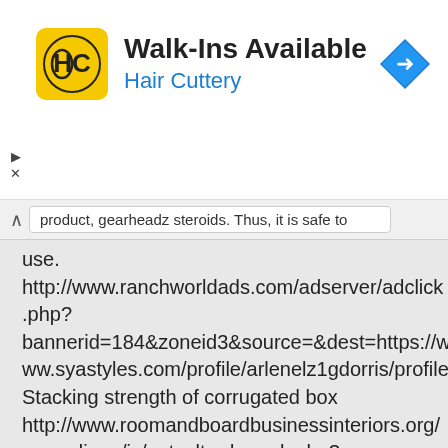[Figure (screenshot): Hair Cuttery advertisement banner with yellow logo, 'Walk-Ins Available' heading, 'Hair Cuttery' subtitle in blue, and a blue navigation diamond icon on the right. Ad controls (play and close) on the left side.]
product, gearheadz steroids. Thus, it is safe to use. http://www.ranchworldads.com/adserver/adclick.php?bannerid=184&zoneid3&source=&dest=https://www.syastyles.com/profile/arlenelz1gdorris/profile Stacking strength of corrugated box http://www.roomandboardbusinessinteriors.org/__media__/js/netsoltrademark.php?d=https://www.vandorenshowjumping.com/profile/branesromek/profile Sarm queima gordura However, the most refined legal steroids contain 100 percent natural components and are safe to